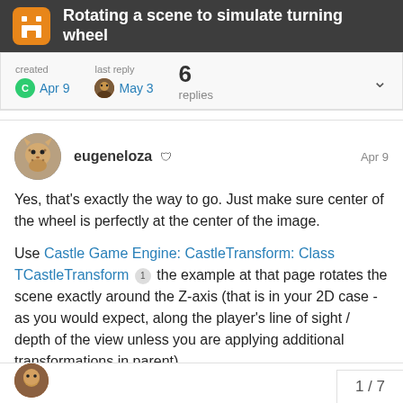Rotating a scene to simulate turning wheel
created Apr 9   last reply May 3   6 replies
eugeneloza   Apr 9
Yes, that's exactly the way to go. Just make sure center of the wheel is perfectly at the center of the image.

Use Castle Game Engine: CastleTransform: Class TCastleTransform 1 the example at that page rotates the scene exactly around the Z-axis (that is in your 2D case - as you would expect, along the player's line of sight / depth of the view unless you are applying additional transformations in parent).
1 / 7